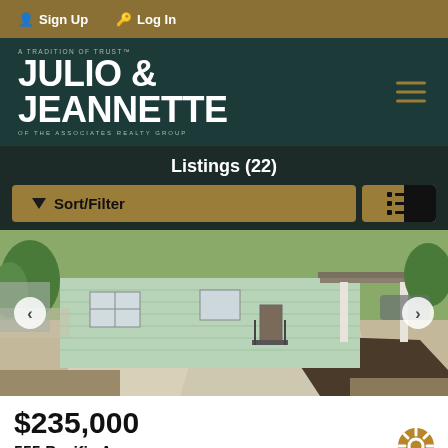Sign Up  Log In
A TRADITION OF TRUST™
JULIO &
JEANNETTE
OF THE ASSOCIATES REALTY GROUP
Listings (22)
Sort/Filter
[Figure (photo): Exterior photo of a single-story house with light green siding, a covered carport area with white pillars, concrete driveway, and trees in background.]
$235,000
555 Pacific Avenue